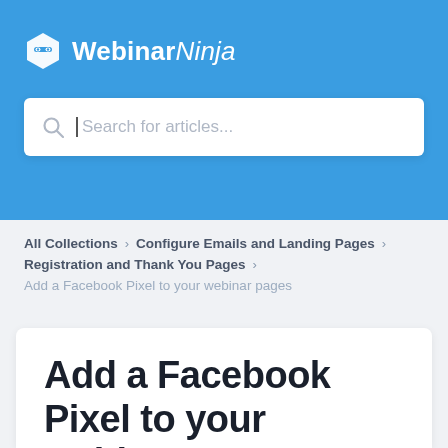[Figure (logo): WebinarNinja logo — white shield/ninja icon and text 'WebinarNinja' on blue background]
Search for articles...
All Collections > Configure Emails and Landing Pages > Registration and Thank You Pages >
Add a Facebook Pixel to your webinar pages
Add a Facebook Pixel to your webinar pages